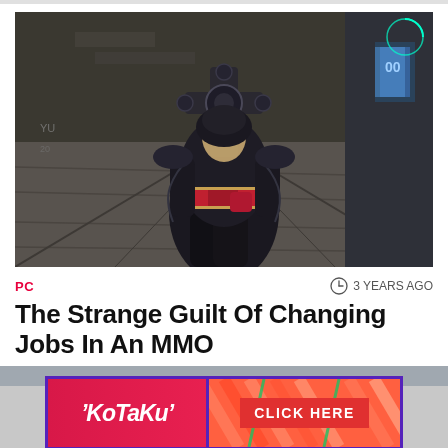[Figure (screenshot): Video game screenshot showing a dark fantasy character in black armor holding a decorative cross-shaped weapon, viewed from below against a stone environment with blue lighting elements]
PC
3 YEARS AGO
The Strange Guilt Of Changing Jobs In An MMO
Heather Alexandra
[Figure (other): Kotaku advertisement banner with pink/red gradient background, Kotaku logo on left, and CLICK HERE button on right with diagonal stripe pattern]